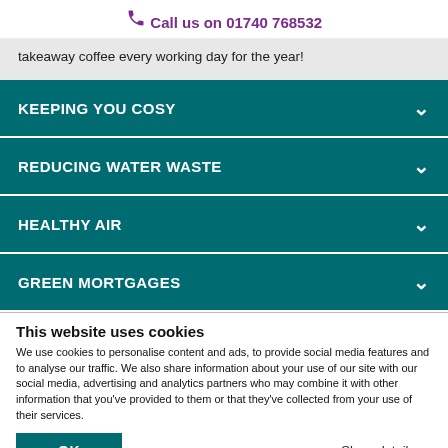Call us on 01740 768532
takeaway coffee every working day for the year!
KEEPING YOU COSY
REDUCING WATER WASTE
HEALTHY AIR
GREEN MORTGAGES
This website uses cookies
We use cookies to personalise content and ads, to provide social media features and to analyse our traffic. We also share information about your use of our site with our social media, advertising and analytics partners who may combine it with other information that you've provided to them or that they've collected from your use of their services.